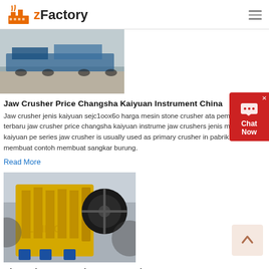zFactory
[Figure (photo): Outdoor photo of industrial crushing/mining equipment on gravel ground]
Jaw Crusher Price Changsha Kaiyuan Instrument China
Jaw crusher jenis kaiyuan sejc1oox6o harga mesin stone crusher atau pemecah batu terbaru jaw crusher price changsha kaiyuan instrume jaw crushers jenis mesin kaiyuan pe series jaw crusher is usually used as primary crusher in pabrik pasir membuat contoh membuat sangkar burung.
Read More
[Figure (photo): Yellow industrial jaw crusher machine with black flywheel in factory setting, Liming brand watermark]
Changsha Ore Crusher, Jaw Crusher
Aug 11, 2020  Changsha mill producer priceschangsha mill producer